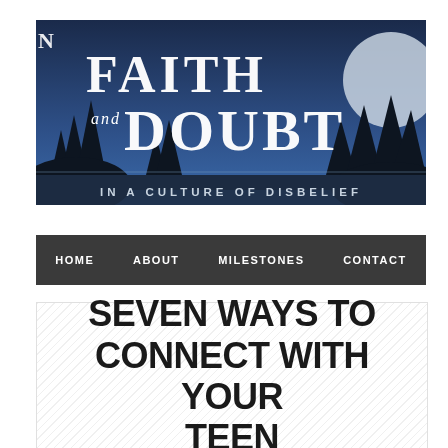[Figure (illustration): Website banner for 'Faith and Doubt in a Culture of Disbelief' — dark blue night sky background with silhouettes of pine trees and a large moon on the right; large white serif text reads 'FAITH and DOUBT'; subtitle 'IN A CULTURE OF DISBELIEF' in spaced caps at the bottom; letter 'N' visible at top-left edge]
HOME   ABOUT   MILESTONES   CONTACT
SEVEN WAYS TO CONNECT WITH YOUR TEEN